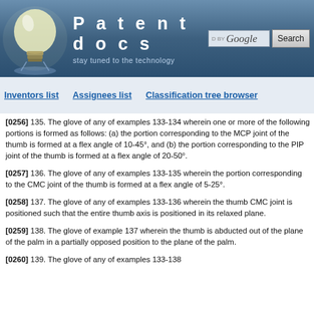Patentdocs — stay tuned to the technology
Inventors list
Assignees list
Classification tree browser
[0256] 135. The glove of any of examples 133-134 wherein one or more of the following portions is formed as follows: (a) the portion corresponding to the MCP joint of the thumb is formed at a flex angle of 10-45°, and (b) the portion corresponding to the PIP joint of the thumb is formed at a flex angle of 20-50°.
[0257] 136. The glove of any of examples 133-135 wherein the portion corresponding to the CMC joint of the thumb is formed at a flex angle of 5-25°.
[0258] 137. The glove of any of examples 133-136 wherein the thumb CMC joint is positioned such that the entire thumb axis is positioned in its relaxed plane.
[0259] 138. The glove of example 137 wherein the thumb is abducted out of the plane of the palm in a partially opposed position to the plane of the palm.
[0260] 139. The glove of any of examples 133-138 ...